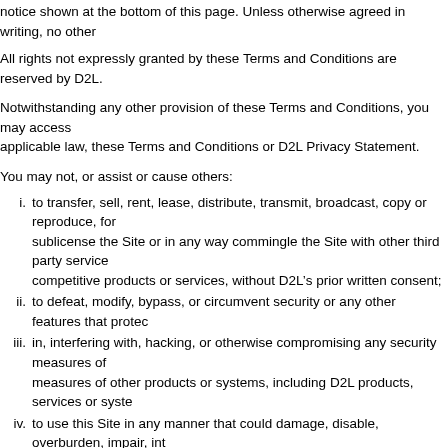notice shown at the bottom of this page. Unless otherwise agreed in writing, no other
All rights not expressly granted by these Terms and Conditions are reserved by D2L.
Notwithstanding any other provision of these Terms and Conditions, you may access applicable law, these Terms and Conditions or D2L Privacy Statement.
You may not, or assist or cause others:
i. to transfer, sell, rent, lease, distribute, transmit, broadcast, copy or reproduce, for sublicense the Site or in any way commingle the Site with other third party service competitive products or services, without D2L’s prior written consent;
ii. to defeat, modify, bypass, or circumvent security or any other features that protec
iii. in, interfering with, hacking, or otherwise compromising any security measures of measures of other products or systems, including D2L products, services or syste
iv. to use this Site in any manner that could damage, disable, overburden, impair, int or any services, system resources, accounts, servers, networks, affiliated or 3rd p uploading, posting or otherwise transmitting on this Site any computer viruses, Tr disruptive or destructive or that may impose an unreasonable or disproportionate
v. to use any robot, spider or other automatic program or device, or manual process in whole or in part);
vi. use this Site for commercial purposes or activities, including without limitation:
a. selling or offering to sell any goods or services;
b. soliciting for advertisers or sponsors;
c. conducting contests, gaming or gambling or offering prizes, awards or any oth